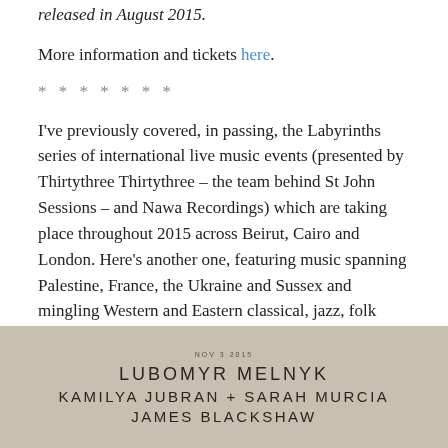released in August 2015.
More information and tickets here.
* * * * * * *
I've previously covered, in passing, the Labyrinths series of international live music events (presented by Thirtythree Thirtythree – the team behind St John Sessions – and Nawa Recordings) which are taking place throughout 2015 across Beirut, Cairo and London. Here's another one, featuring music spanning Palestine, France, the Ukraine and Sussex and mingling Western and Eastern classical, jazz, folk baroque and Arabic forms.
[Figure (other): Event poster on tan/beige background. Text reads: NOV 3 2015 / LUBOMYR MELNYK / KAMILYA JUBRAN + SARAH MURCIA / JAMES BLACKSHAW]